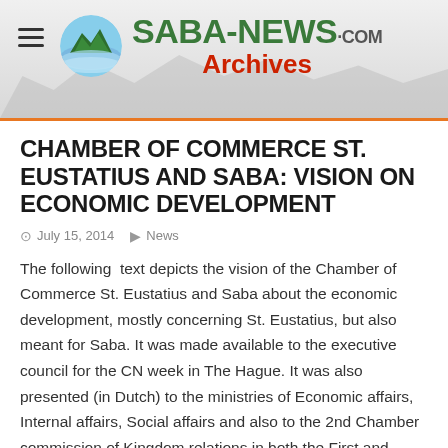[Figure (logo): Saba-News.com Archives website header banner with circular mountain/island logo, green SABA-NEWS text, .COM in gray, and red Archives subtitle below, on a gray mountain silhouette background with orange top border]
CHAMBER OF COMMERCE ST. EUSTATIUS AND SABA: VISION ON ECONOMIC DEVELOPMENT
July 15, 2014   News
The following  text depicts the vision of the Chamber of Commerce St. Eustatius and Saba about the economic development, mostly concerning St. Eustatius, but also meant for Saba. It was made available to the executive council for the CN week in The Hague. It was also presented (in Dutch) to the ministries of Economic affairs, Internal affairs, Social affairs and also to the 2nd Chamber commission of Kingdom relations in both the First and Second chamber.